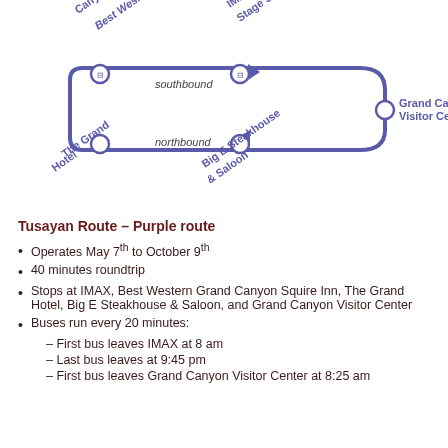[Figure (schematic): Tusayan Route Purple route diagram showing a loop route with stops: Best Western Canyon Squire Inn, IMAX/R.F. Stage Shop, Grand Canyon Visitor Center, Big E Steakhouse & Saloon, The Grand Hotel. Southbound direction at top, northbound at bottom, with arrows indicating direction of travel.]
Tusayan Route – Purple route
Operates May 7th to October 9th
40 minutes roundtrip
Stops at IMAX, Best Western Grand Canyon Squire Inn, The Grand Hotel, Big E Steakhouse & Saloon, and Grand Canyon Visitor Center
Buses run every 20 minutes:
– First bus leaves IMAX at 8 am
– Last bus leaves at 9:45 pm
– First bus leaves Grand Canyon Visitor Center at 8:25 am